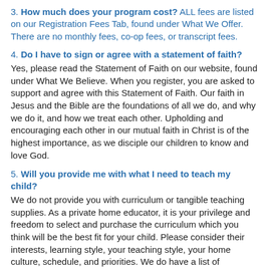3. How much does your program cost? ALL fees are listed on our Registration Fees Tab, found under What We Offer. There are no monthly fees, co-op fees, or transcript fees.
4. Do I have to sign or agree with a statement of faith? Yes, please read the Statement of Faith on our website, found under What We Believe. When you register, you are asked to support and agree with this Statement of Faith. Our faith in Jesus and the Bible are the foundations of all we do, and why we do it, and how we treat each other. Upholding and encouraging each other in our mutual faith in Christ is of the highest importance, as we disciple our children to know and love God.
5. Will you provide me with what I need to teach my child? We do not provide you with curriculum or tangible teaching supplies. As a private home educator, it is your privilege and freedom to select and purchase the curriculum which you think will be the best fit for your child. Please consider their interests, learning style, your teaching style, your home culture, schedule, and priorities. We do have a list of recommended curriculum options to get you started on your search.
6. What classes do you offer? We offer whatever our members commit to teaching. All classes, just like events and activities are planned and executed/taught by our volunteering members. Most years we have volunteers who offer 4 holiday crafts, a sewing fundamentals class, and a calling from the